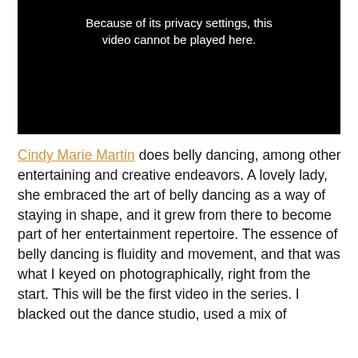[Figure (other): Black video embed placeholder with white text reading 'Because of its privacy settings, this video cannot be played here.']
Cindy Marie Martin does belly dancing, among other entertaining and creative endeavors. A lovely lady, she embraced the art of belly dancing as a way of staying in shape, and it grew from there to become part of her entertainment repertoire. The essence of belly dancing is fluidity and movement, and that was what I keyed on photographically, right from the start. This will be the first video in the series. I blacked out the dance studio, used a mix of